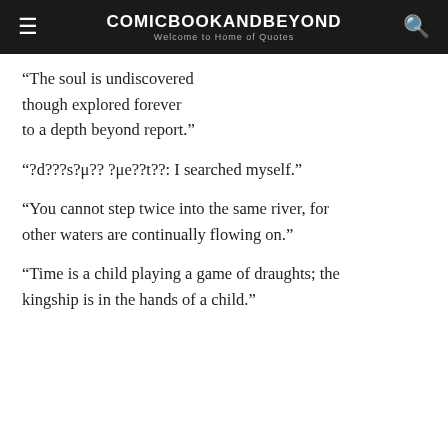COMICBOOKANDBEYOND
Welcome to Home of Quotes
“The soul is undiscovered though explored forever to a depth beyond report.”
“?d???s?μ?? ?μe??t??: I searched myself.”
“You cannot step twice into the same river, for other waters are continually flowing on.”
“Time is a child playing a game of draughts; the kingship is in the hands of a child.”